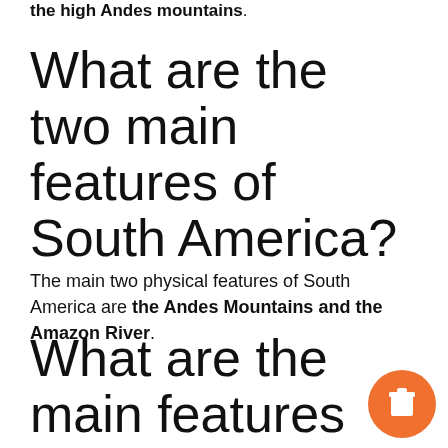the high Andes mountains.
What are the two main features of South America?
The main two physical features of South America are the Andes Mountains and the Amazon River.
What are the main features of the relief of South America?